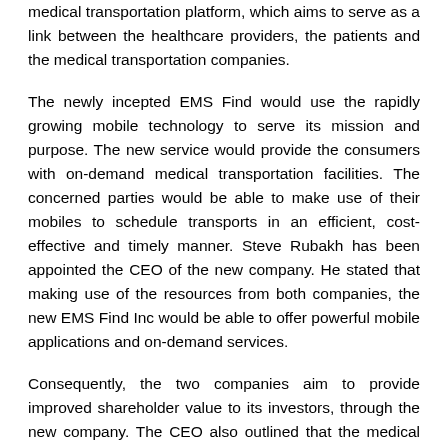medical transportation platform, which aims to serve as a link between the healthcare providers, the patients and the medical transportation companies.
The newly incepted EMS Find would use the rapidly growing mobile technology to serve its mission and purpose. The new service would provide the consumers with on-demand medical transportation facilities. The concerned parties would be able to make use of their mobiles to schedule transports in an efficient, cost-effective and timely manner. Steve Rubakh has been appointed the CEO of the new company. He stated that making use of the resources from both companies, the new EMS Find Inc would be able to offer powerful mobile applications and on-demand services.
Consequently, the two companies aim to provide improved shareholder value to its investors, through the new company. The CEO also outlined that the medical transportation industry is worth $15 billion and the EMS Find would cater to over 40 million annual medical transports worldwide. EMS Find has stated its mission to